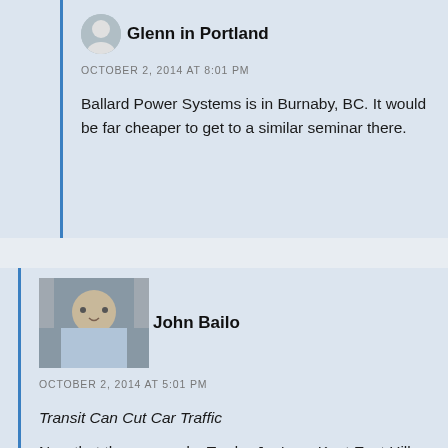Glenn in Portland
OCTOBER 2, 2014 AT 8:01 PM
Ballard Power Systems is in Burnaby, BC. It would be far cheaper to get to a similar seminar there.
John Bailo
OCTOBER 2, 2014 AT 5:01 PM
Transit Can Cut Car Traffic
Now that they opened a Trader Joe's on Kent East Hill (132nd Street) I am almost at the point where I